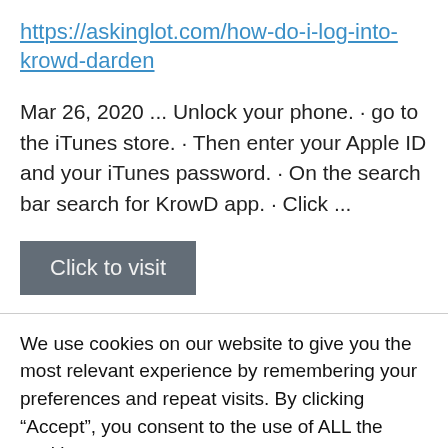https://askinglot.com/how-do-i-log-into-krowd-darden
Mar 26, 2020 ... Unlock your phone. · go to the iTunes store. · Then enter your Apple ID and your iTunes password. · On the search bar search for KrowD app. · Click ...
[Figure (other): Gray 'Click to visit' button]
We use cookies on our website to give you the most relevant experience by remembering your preferences and repeat visits. By clicking “Accept”, you consent to the use of ALL the cookies. Do not sell my personal information.
[Figure (other): Cookie settings button and ACCEPT green button]